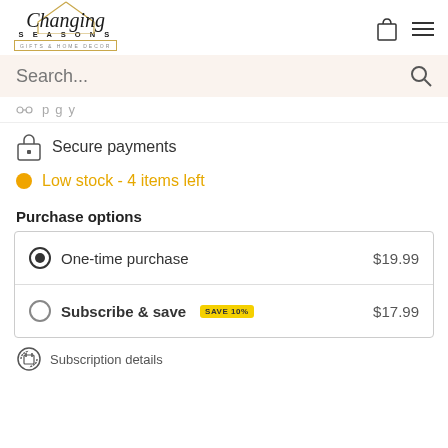[Figure (logo): Changing Seasons Gifts & Home Decor logo with house outline and script text]
Search...
Secure payments
Low stock - 4 items left
Purchase options
| Option | Price |
| --- | --- |
| One-time purchase | $19.99 |
| Subscribe & save SAVE 10% | $17.99 |
Subscription details